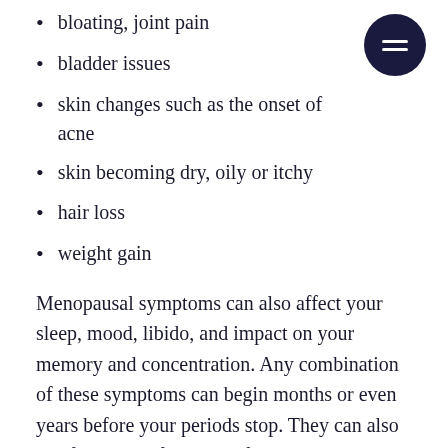bloating, joint pain
bladder issues
skin changes such as the onset of acne
skin becoming dry, oily or itchy
hair loss
weight gain
Menopausal symptoms can also affect your sleep, mood, libido, and impact on your memory and concentration. Any combination of these symptoms can begin months or even years before your periods stop. They can also last for around four years following your last period. Some women could, unfortunately, continue to experience symptoms for much longer.